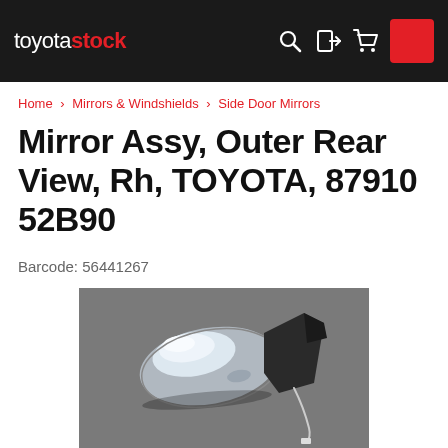toyotastock
Home > Mirrors & Windshields > Side Door Mirrors
Mirror Assy, Outer Rear View, Rh, TOYOTA, 87910 52B90
Barcode: 56441267
[Figure (photo): Photo of a Toyota outer rear view mirror assembly (right-hand side), silver/chrome color with black mounting bracket and a wire, placed on a dark grey surface.]